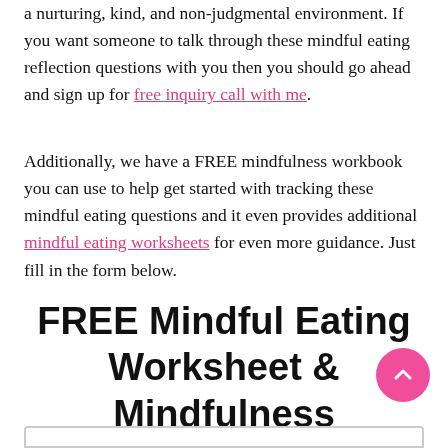a nurturing, kind, and non-judgmental environment. If you want someone to talk through these mindful eating reflection questions with you then you should go ahead and sign up for free inquiry call with me.
Additionally, we have a FREE mindfulness workbook you can use to help get started with tracking these mindful eating questions and it even provides additional mindful eating worksheets for even more guidance. Just fill in the form below.
FREE Mindful Eating Worksheet & Mindfulness Workbook